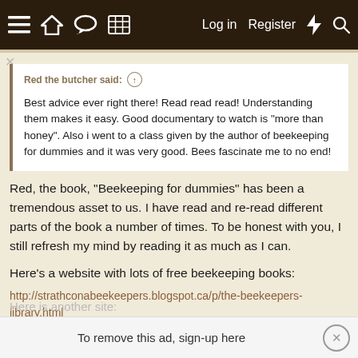Navigation bar with menu, home, chat, grid icons and Log in, Register links
Red the butcher said: ↑
Best advice ever right there! Read read read! Understanding them makes it easy. Good documentary to watch is "more than honey". Also i went to a class given by the author of beekeeping for dummies and it was very good. Bees fascinate me to no end!
Red, the book, "Beekeeping for dummies" has been a tremendous asset to us. I have read and re-read different parts of the book a number of times. To be honest with you, I still refresh my mind by reading it as much as I can.
Here's a website with lots of free beekeeping books:
http://strathconabeekeepers.blogspot.ca/p/the-beekeepers-library.html
To remove this ad, sign-up here
Here is another site: